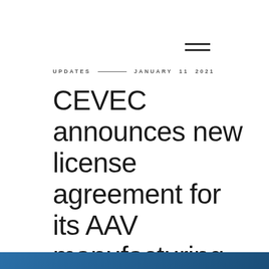≡
UPDATES  —  JANUARY 11 2021
CEVEC announces new license agreement for its AAV manufacturing technology ELEVECTA® in gene therapy